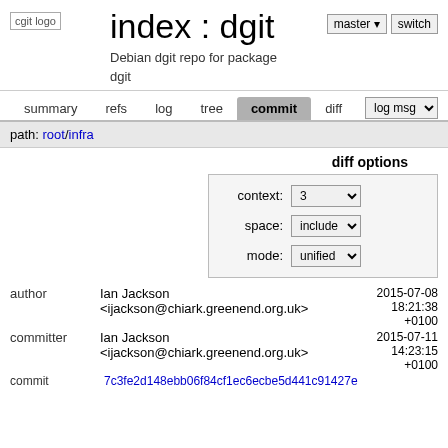[Figure (logo): cgit logo image placeholder]
index : dgit
Debian dgit repo for package dgit
summary  refs  log  tree  commit  diff
path: root/infra
diff options
context: 3
space: include
mode: unified
author  Ian Jackson <ijackson@chiark.greenend.org.uk>  2015-07-08 18:21:38 +0100
committer  Ian Jackson <ijackson@chiark.greenend.org.uk>  2015-07-11 14:23:15 +0100
commit  7c3fe2d148ebb06f84cf1ec6ecbe5d441c91427e